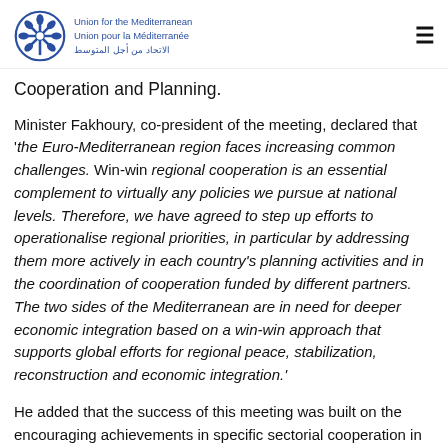Union for the Mediterranean / Union pour la Méditerranée / الاتحاد من أجل المتوسط
Cooperation and Planning.
Minister Fakhoury, co-president of the meeting, declared that 'the Euro-Mediterranean region faces increasing common challenges. Win-win regional cooperation is an essential complement to virtually any policies we pursue at national levels. Therefore, we have agreed to step up efforts to operationalise regional priorities, in particular by addressing them more actively in each country's planning activities and in the coordination of cooperation funded by different partners. The two sides of the Mediterranean are in need for deeper economic integration based on a win-win approach that supports global efforts for regional peace, stabilization, reconstruction and economic integration.'
He added that the success of this meeting was built on the encouraging achievements in specific sectorial cooperation in